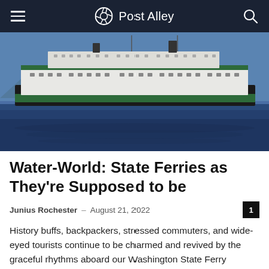Post Alley
[Figure (photo): Washington State Ferry on blue water with mountains in background, white vessel with green stripe]
Water-World: State Ferries as They're Supposed to be
Junius Rochester · August 21, 2022
History buffs, backpackers, stressed commuters, and wide-eyed tourists continue to be charmed and revived by the graceful rhythms aboard our Washington State Ferry system.
[Figure (photo): Small thumbnail image of wolves]
The Wolves of Washington